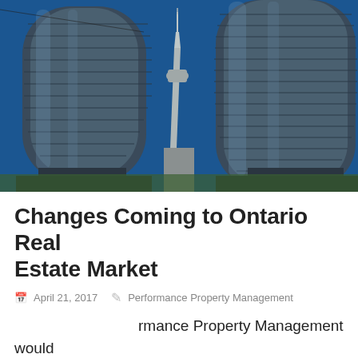[Figure (photo): Photograph of two large curved glass skyscraper towers with the CN Tower visible in the background against a deep blue sky, Toronto, Ontario]
Changes Coming to Ontario Real Estate Market
April 21, 2017  Performance Property Management
Performance Property Management would like to take this opportunity to update our property owners on some updates with the